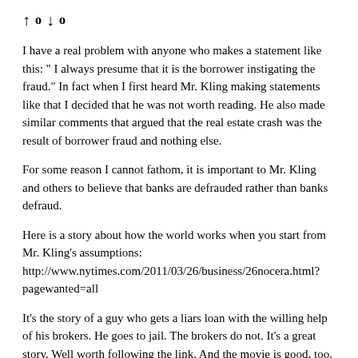▲ 0 ▼ 0
I have a real problem with anyone who makes a statement like this: " I always presume that it is the borrower instigating the fraud." In fact when I first heard Mr. Kling making statements like that I decided that he was not worth reading. He also made similar comments that argued that the real estate crash was the result of borrower fraud and nothing else.
For some reason I cannot fathom, it is important to Mr. Kling and others to believe that banks are defrauded rather than banks defraud.
Here is a story about how the world works when you start from Mr. Kling's assumptions: http://www.nytimes.com/2011/03/26/business/26nocera.html?pagewanted=all
It's the story of a guy who gets a liars loan with the willing help of his brokers. He goes to jail. The brokers do not. It's a great story. Well worth following the link. And the movie is good, too.